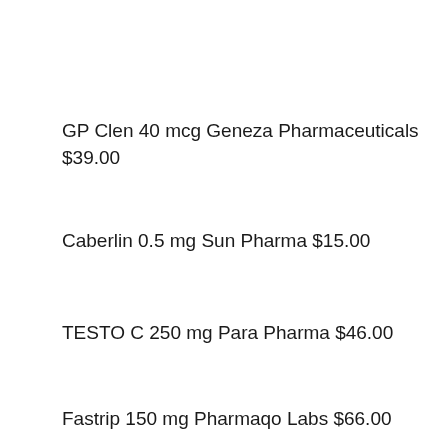GP Clen 40 mcg Geneza Pharmaceuticals $39.00
Caberlin 0.5 mg Sun Pharma $15.00
TESTO C 250 mg Para Pharma $46.00
Fastrip 150 mg Pharmaqo Labs $66.00